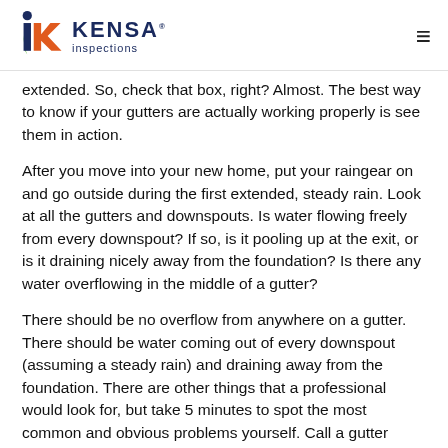KENSA inspections
extended. So, check that box, right? Almost. The best way to know if your gutters are actually working properly is see them in action.
After you move into your new home, put your raingear on and go outside during the first extended, steady rain. Look at all the gutters and downspouts. Is water flowing freely from every downspout? If so, is it pooling up at the exit, or is it draining nicely away from the foundation? Is there any water overflowing in the middle of a gutter?
There should be no overflow from anywhere on a gutter. There should be water coming out of every downspout (assuming a steady rain) and draining away from the foundation. There are other things that a professional would look for, but take 5 minutes to spot the most common and obvious problems yourself. Call a gutter contractor if you see anything that doesn't look right.